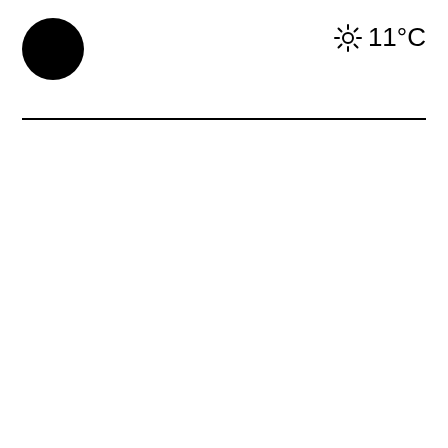[Figure (illustration): Black filled circle in the top-left of the header area]
☀ 11°C
[Figure (illustration): Horizontal black divider line below the header]